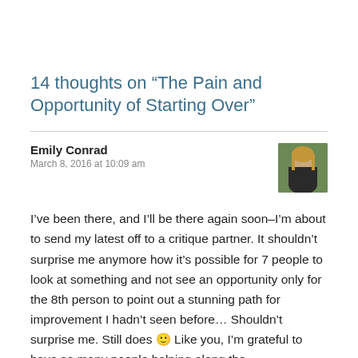14 thoughts on “The Pain and Opportunity of Starting Over”
Emily Conrad
March 8, 2016 at 10:09 am
[Figure (photo): Portrait photo of Emily Conrad, a woman with long blonde hair against a green outdoor background]
I’ve been there, and I’ll be there again soon–I’m about to send my latest off to a critique partner. It shouldn’t surprise me anymore how it’s possible for 7 people to look at something and not see an opportunity only for the 8th person to point out a stunning path for improvement I hadn’t seen before… Shouldn’t surprise me. Still does 🙂 Like you, I’m grateful to have so many people helping along the